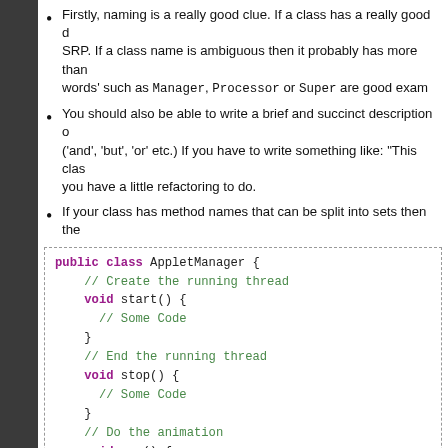Firstly, naming is a really good clue. If a class has a really good descriptive name then it probably follows SRP. If a class name is ambiguous then it probably has more than one responsibility. 'Weasel words' such as Manager, Processor or Super are good examples of this.
You should also be able to write a brief and succinct description of the class without using conjunctions ('and', 'but', 'or' etc.) If you have to write something like: "This class does X and also Y" then you have a little refactoring to do.
If your class has method names that can be split into sets then the
public class AppletManager {

    // Create the running thread
    void start() {
      // Some Code
    }

    // End the running thread
    void stop() {
      // Some Code
    }

    // Do the animation
    void run() {
      // Some Code
    }